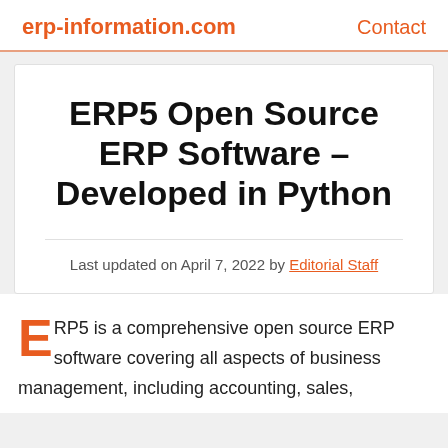erp-information.com   Contact
ERP5 Open Source ERP Software – Developed in Python
Last updated on April 7, 2022 by Editorial Staff
ERP5 is a comprehensive open source ERP software covering all aspects of business management, including accounting, sales,